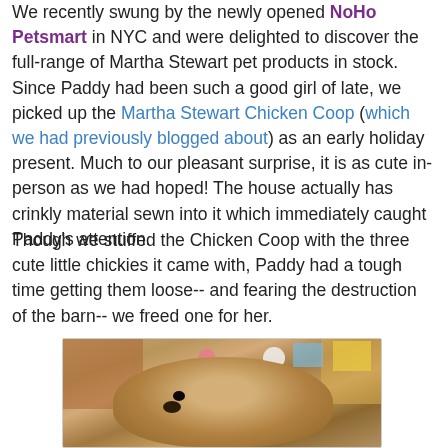We recently swung by the newly opened NoHo Petsmart in NYC and were delighted to discover the full-range of Martha Stewart pet products in stock. Since Paddy had been such a good girl of late, we picked up the Martha Stewart Chicken Coop (which we had previously blogged about) as an early holiday present. Much to our pleasant surprise, it is as cute in-person as we had hoped! The house actually has crinkly material sewn into it which immediately caught Paddy's attention.
Though we stuffed the Chicken Coop with the three cute little chickies it came with, Paddy had a tough time getting them loose-- and fearing the destruction of the barn-- we freed one for her.
[Figure (photo): A photo of a dog (Paddy) with golden/tan fur, appearing to look at or play with a toy. Background shows colorful items including a pink toy, white round object, blue box, and yellow box.]